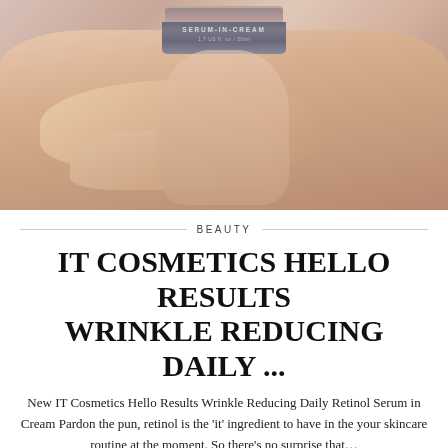[Figure (photo): A hand holding a small cosmetic jar labeled 'SERUM-IN-CREAM 1.7 US fl. oz / 50ml' against a blurred light background with a green circular element visible in the top right.]
BEAUTY
IT COSMETICS HELLO RESULTS WRINKLE REDUCING DAILY ...
New IT Cosmetics Hello Results Wrinkle Reducing Daily Retinol Serum in Cream Pardon the pun, retinol is the 'it' ingredient to have in the your skincare routine at the moment. So there's no surprise that…